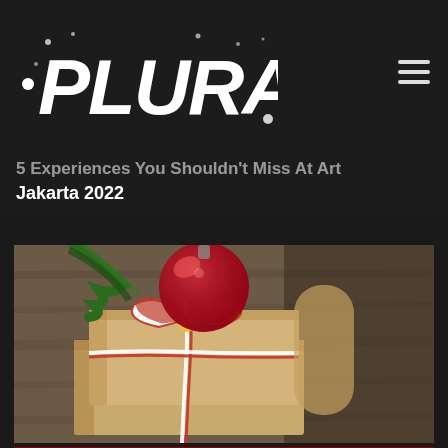PLURAL
5 Experiences You Shouldn't Miss At Art Jakarta 2022
[Figure (photo): A kraft paper-wrapped Christmas gift tied with red and white twine, topped with a red ornament ball and green pine sprigs, on a wooden surface]
[Figure (infographic): Advertisement banner reading 'WHAT KIND OF GIFT-GIVER ARE YOU?' with a 'Click Here to Find Out!' button on a dark red background]